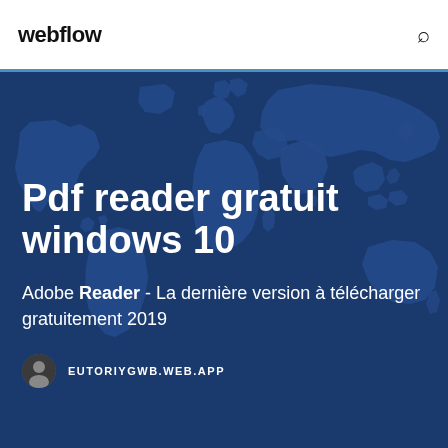webflow
[Figure (illustration): World map silhouette in dark navy blue tones used as hero background]
Pdf reader gratuit windows 10
Adobe Reader - La dernière version à télécharger gratuitement 2019
EUTORIYGWB.WEB.APP